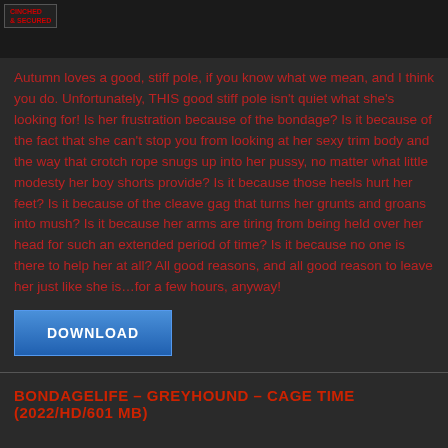[Figure (photo): Partial image strip showing a logo in the top-left corner reading 'CINCHED & SECURED' in red on dark background, with a partial scene visible.]
Autumn loves a good, stiff pole, if you know what we mean, and I think you do. Unfortunately, THIS good stiff pole isn't quiet what she's looking for! Is her frustration because of the bondage? Is it because of the fact that she can't stop you from looking at her sexy trim body and the way that crotch rope snugs up into her pussy, no matter what little modesty her boy shorts provide? Is it because those heels hurt her feet? Is it because of the cleave gag that turns her grunts and groans into mush? Is it because her arms are tiring from being held over her head for such an extended period of time? Is it because no one is there to help her at all? All good reasons, and all good reason to leave her just like she is...for a few hours, anyway!
DOWNLOAD
BONDAGELIFE – GREYHOUND – CAGE TIME (2022/HD/601 MB)